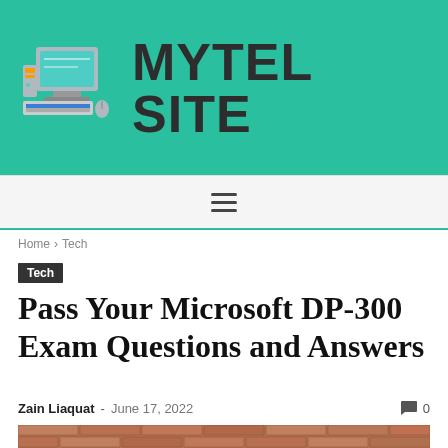[Figure (logo): MyTel Site logo with computer graphic and bold text 'MYTEL SITE' on teal background]
Navigation menu bar with hamburger icon
Home > Tech
Tech
Pass Your Microsoft DP-300 Exam Questions and Answers
Zain Liaquat - June 17, 2022   0
[Figure (photo): Partial photo of a brick building/wall exterior]